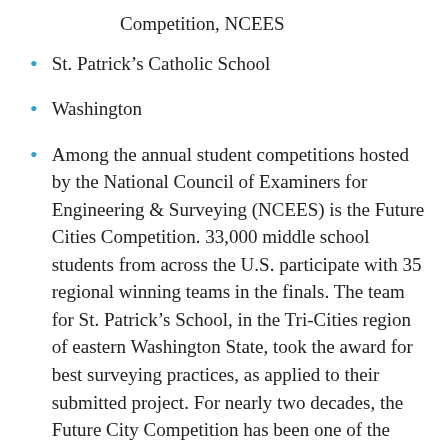Competition, NCEES
St. Patrick's Catholic School
Washington
Among the annual student competitions hosted by the National Council of Examiners for Engineering & Surveying (NCEES) is the Future Cities Competition. 33,000 middle school students from across the U.S. participate with 35 regional winning teams in the finals. The team for St. Patrick's School, in the Tri-Cities region of eastern Washington State, took the award for best surveying practices, as applied to their submitted project. For nearly two decades, the Future City Competition has been one of the highlights of National Engineers Week. Aimed at students in grades 6–8, the program is designed to spark interest in math, science, and engineering